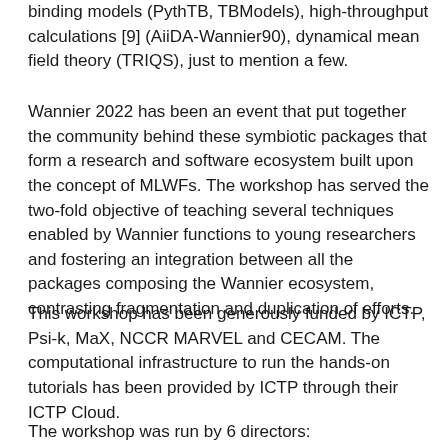binding models (PythTB, TBModels), high-throughput calculations [9] (AiiDA-Wannier90), dynamical mean field theory (TRIQS), just to mention a few.
Wannier 2022 has been an event that put together the community behind these symbiotic packages that form a research and software ecosystem built upon the concept of MLWFs. The workshop has served the two-fold objective of teaching several techniques enabled by Wannier functions to young researchers and fostering an integration between all the packages composing the Wannier ecosystem, contrasting fragmentation and duplication of efforts.
This workshop has been generously funded by ICTP, Psi-k, MaX, NCCR MARVEL and CECAM. The computational infrastructure to run the hands-on tutorials has been provided by ICTP through their ICTP Cloud.
The workshop was run by 6 directors: